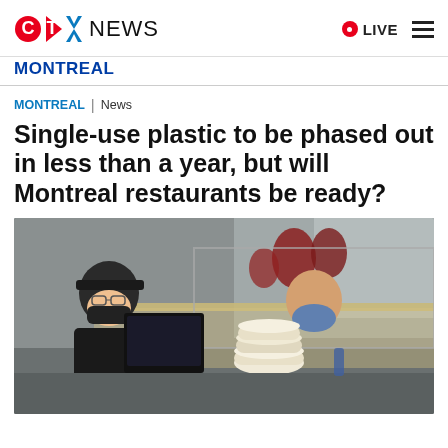CTV NEWS | MONTREAL | LIVE
MONTREAL
MONTREAL | News
Single-use plastic to be phased out in less than a year, but will Montreal restaurants be ready?
[Figure (photo): Two restaurant workers wearing face masks standing at a counter with a POS terminal and stacked takeout containers in a restaurant setting.]